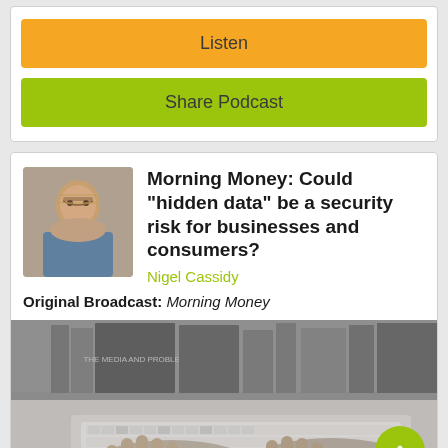[Figure (other): Listen button - orange rounded rectangle]
[Figure (other): Share Podcast button - lime green rounded rectangle]
[Figure (photo): Small headshot photo of Nigel Cassidy, a man with reddish hair and glasses]
Morning Money: Could "hidden data" be a security risk for businesses and consumers?
Nigel Cassidy
Original Broadcast: Morning Money
[Figure (photo): Black and white photo of hands typing on a keyboard with books in background]